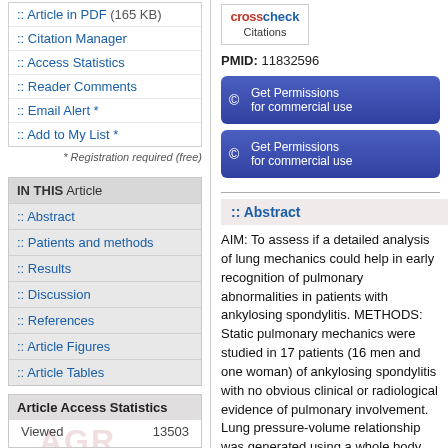:: Article in PDF (165 KB)
:: Citation Manager
:: Access Statistics
:: Reader Comments
:: Email Alert *
:: Add to My List *
* Registration required (free)
IN THIS Article
:: Abstract
:: Patients and methods
:: Results
:: Discussion
:: References
:: Article Figures
:: Article Tables
Article Access Statistics
Viewed	13503
Printed	288
Emailed	4
[Figure (logo): CrossRef Check Citations logo]
PMID: 11832596
Get Permissions for commercial use
Get Permissions for commercial use
:: Abstract
AIM: To assess if a detailed analysis of lung mechanics could help in early recognition of pulmonary abnormalities in patients with ankylosing spondylitis. METHODS: Static pulmonary mechanics were studied in 17 patients (16 men and one woman) of ankylosing spondylitis with no obvious clinical or radiological evidence of pulmonary involvement. Lung pressure-volume relationship was generated using a whole body plethysmograph, and a monoexponential equation fitted to this data. RESULTS: Total lung capacity (TLC) was reduced in one (5.9%) and static lung